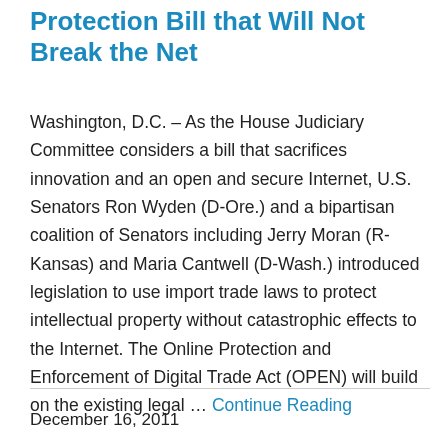Protection Bill that Will Not Break the Net
Washington, D.C. – As the House Judiciary Committee considers a bill that sacrifices innovation and an open and secure Internet, U.S. Senators Ron Wyden (D-Ore.) and a bipartisan coalition of Senators including Jerry Moran (R-Kansas) and Maria Cantwell (D-Wash.) introduced legislation to use import trade laws to protect intellectual property without catastrophic effects to the Internet. The Online Protection and Enforcement of Digital Trade Act (OPEN) will build on the existing legal … Continue Reading
December 16, 2011